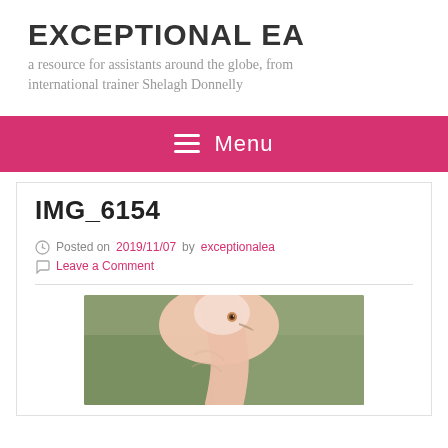EXCEPTIONAL EA
a resource for assistants around the globe, from international trainer Shelagh Donnelly
≡  Menu
IMG_6154
Posted on 2019/11/07 by exceptionalea
Leave a Comment
[Figure (photo): A close-up photograph of a flamingo's head and neck against a blurred green background.]